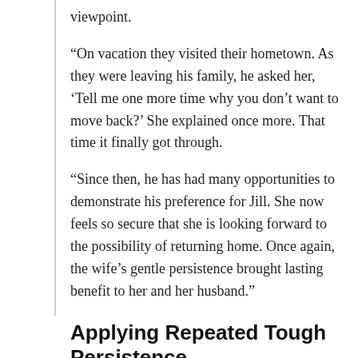viewpoint.
“On vacation they visited their hometown. As they were leaving his family, he asked her, ‘Tell me one more time why you don’t want to move back?’ She explained once more. That time it finally got through.
“Since then, he has had many opportunities to demonstrate his preference for Jill. She now feels so secure that she is looking forward to the possibility of returning home. Once again, the wife’s gentle persistence brought lasting benefit to her and her husband.”
Applying Repeated Tough Persistence
Tough persistence, which is perseverance, can especially pay off in wonderful ways as we apply it to